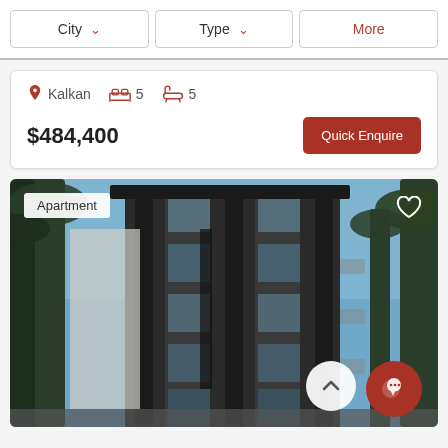City | Type | More — filter bar
Kalkan  5 beds  5 baths
$484,400
Quick Enquire
[Figure (photo): Modern dark-facade apartment building exterior with palm trees, blue sky, multi-storey glazed balconies. Badge: Apartment. Heart icon top-right. Scroll-up button and chat button bottom-right.]